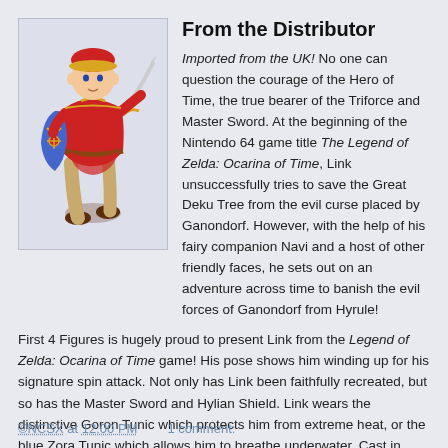[Figure (illustration): Illustration of Link from The Legend of Zelda: Ocarina of Time, wearing red Goron Tunic, holding Master Sword and Hylian Shield, in a crouching spin attack pose.]
From the Distributor
Imported from the UK! No one can question the courage of the Hero of Time, the true bearer of the Triforce and Master Sword. At the beginning of the Nintendo 64 game title The Legend of Zelda: Ocarina of Time, Link unsuccessfully tries to save the Great Deku Tree from the evil curse placed by Ganondorf. However, with the help of his fairy companion Navi and a host of other friendly faces, he sets out on an adventure across time to banish the evil forces of Ganondorf from Hyrule!
First 4 Figures is hugely proud to present Link from the Legend of Zelda: Ocarina of Time game! His pose shows him winding up for his signature spin attack. Not only has Link been faithfully recreated, but so has the Master Sword and Hylian Shield. Link wears the distinctive Goron Tunic which protects him from extreme heat, or the blue Zora Tunic which allows him to breathe underwater. Cast in high-quality polystone, the superb statue is hand finished and hand painted. Link stands upon a diorama base and includes a dungeon map and dungeon key for added realism. Each statue is limited to only 1,250 pieces worldwide. Preorders ship on January 27, 2010.
©NCSX at 12:00 PM    1 comment: